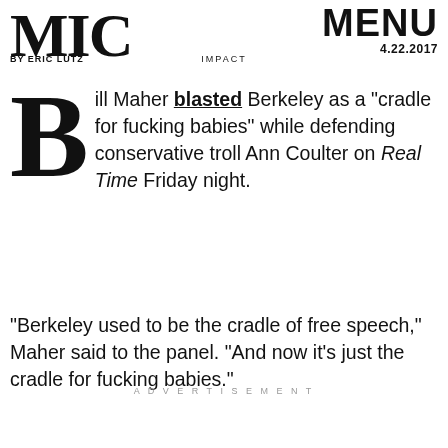MIC | BY ERIC LUTZ | IMPACT | MENU 4.22.2017
Bill Maher blasted Berkeley as a "cradle for fucking babies" while defending conservative troll Ann Coulter on Real Time Friday night.
"Berkeley used to be the cradle of free speech," Maher said to the panel. "And now it's just the cradle for fucking babies."
ADVERTISEMENT